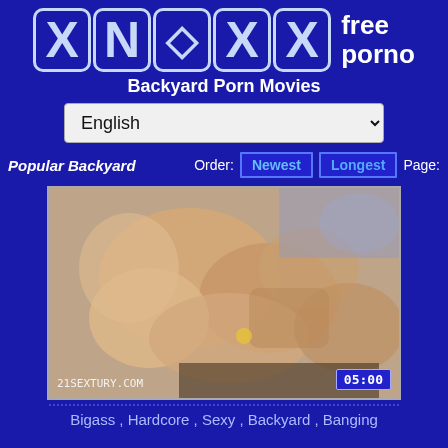[Figure (logo): XNXX logo with bubble letters and 'free porno' text]
Backyard Porn Movies
English (dropdown selector)
Popular Backyard   Order: Newest  Longest  Page:
[Figure (photo): Video thumbnail showing adult content with watermark 21SEXTURY.COM and duration 05:00]
Bigass , Hardcore , Sexy , Backyard , Banging